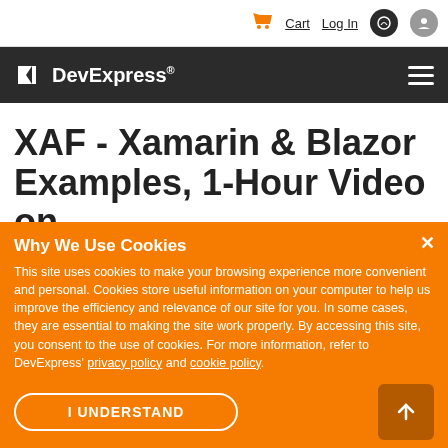Cart  Log In
DevExpress®
XAF - Xamarin & Blazor Examples, 1-Hour Video on
Why We Use Cookies
This site uses cookies to make your browsing experience more convenient and personal. Cookies store useful information on your computer to help us improve the efficiency and relevance of our site for you. In some cases, they are essential to making the site work properly. By accessing this site, you consent to the use of cookies. For more information, refer to DevExpress' privacy policy and cookie policy.
I UNDERSTAND
31 December 2020